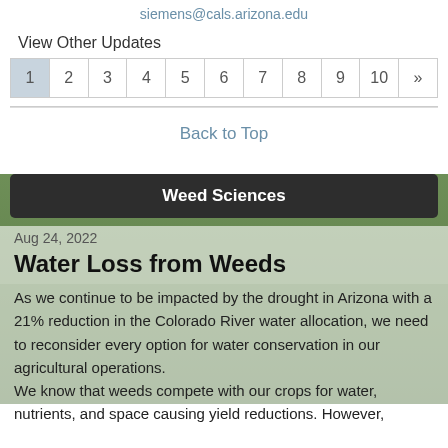siemens@cals.arizona.edu
View Other Updates
1 2 3 4 5 6 7 8 9 10 »
Back to Top
Weed Sciences
Aug 24, 2022
Water Loss from Weeds
As we continue to be impacted by the drought in Arizona with a 21% reduction in the Colorado River water allocation, we need to reconsider every option for water conservation in our agricultural operations.
We know that weeds compete with our crops for water, nutrients, and space causing yield reductions. However,